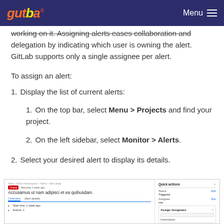Menu
working on it. Assigning alerts eases collaboration and delegation by indicating which user is owning the alert. GitLab supports only a single assignee per alert.
To assign an alert:
1. Display the list of current alerts:
1. On the top bar, select Menu > Projects and find your project.
2. On the left sidebar, select Monitor > Alerts.
2. Select your desired alert to display its details.
[Figure (screenshot): Screenshot of GitLab alert detail page showing breadcrumb navigation, a Critical alert status, alert title 'Accusamus ut nam adipisci et ea quibusdam', Overview/Alert details tabs, start time and count fields, and a Quick actions panel on the right with Status (Triggered), Assignee (mel), and an Assign Assignees dropdown with search field and Unassigned option.]